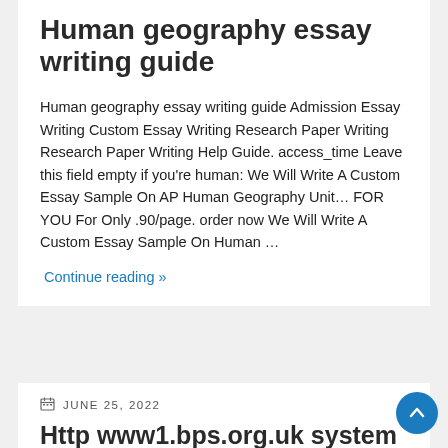Human geography essay writing guide
Human geography essay writing guide Admission Essay Writing Custom Essay Writing Research Paper Writing Research Paper Writing Help Guide. access_time Leave this field empty if you’re human: We Will Write A Custom Essay Sample On AP Human Geography Unit… FOR YOU For Only .90/page. order now We Will Write A Custom Essay Sample On Human …
Continue reading »
JUNE 25, 2022
Http www1.bps.org.uk system files